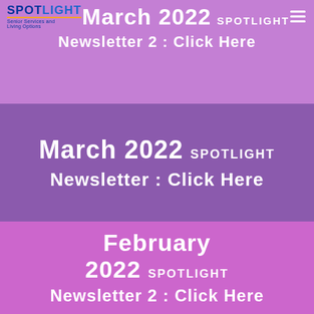March 2022 SPOTLIGHT
Newsletter 2 : Click Here
March 2022 SPOTLIGHT Newsletter : Click Here
February 2022 SPOTLIGHT Newsletter 2 : Click Here